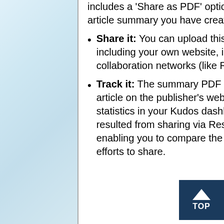includes a 'Share as PDF' option. This will generate a PDF version of the article summary you have created in Kudos.
Share it: You can upload this summary PDF to any website you choose, including your own website, institutional or subject repositories, scholarly collaboration networks (like ResearchGate, Academia.edu or Mendeley).
Track it: The summary PDF contains a trackable link to the full text of your article on the publisher's website. This means that you will now see statistics in your Kudos dashboard about views of your work that have resulted from sharing via ResearchGate, Academia.edu and Mendeley, enabling you to compare the effect of sharing on these websites with other efforts to share.